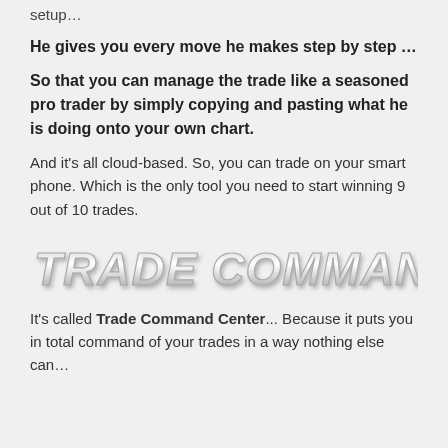setup...
He gives you every move he makes step by step ...
So that you can manage the trade like a seasoned pro trader by simply copying and pasting what he is doing onto your own chart.
And it's all cloud-based. So, you can trade on your smart phone. Which is the only tool you need to start winning 9 out of 10 trades.
[Figure (logo): Trade Command Center logo text in futuristic outlined font with gray gradient and shadow effect]
It's called Trade Command Center... Because it puts you in total command of your trades in a way nothing else can...